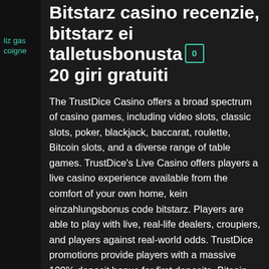liz gascoigne
Bitstarz casino recenzie, bitstarz ei talletusbonusta 20 giri gratuiti
The TrustDice Casino offers a broad spectrum of casino games, including video slots, classic slots, poker, blackjack, baccarat, roulette, Bitcoin slots, and a diverse range of table games. TrustDice's Live Casino offers players a live casino experience available from the comfort of your own home, kein einzahlungsbonus code bitstarz. Players are able to play with live, real-life dealers, croupiers, and players against real-world odds. TrustDice promotions provide players with a massive 100% deposit bonus for first deposits, Bitcoin free spins, and progressive bonuses for ongoing deposits, allowing players to multiply their bankroll and winnings! Deposit and Withdrawal in TrustDice. Cafe casino '